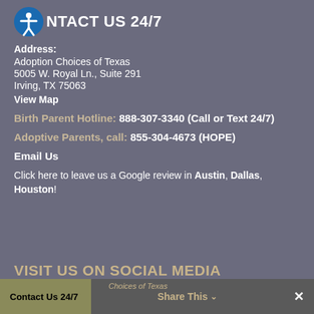CONTACT US 24/7
Address:
Adoption Choices of Texas
5005 W. Royal Ln., Suite 291
Irving, TX 75063
View Map
Birth Parent Hotline: 888-307-3340 (Call or Text 24/7)
Adoptive Parents, call: 855-304-4673 (HOPE)
Email Us
Click here to leave us a Google review in Austin, Dallas, Houston!
VISIT US ON SOCIAL MEDIA
Contact Us 24/7   Choices of Texas   Share This   ✕